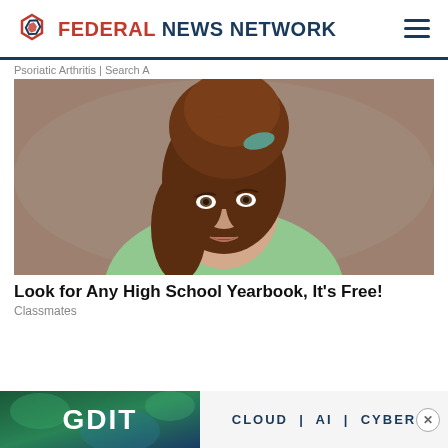FEDERAL NEWS NETWORK
Psoriatic Arthritis | Search A
[Figure (photo): Vintage colorized portrait photo of a young woman with a tall beehive hairstyle and a green ribbon hair accessory, wearing a light green sweater, posed against a brown/taupe studio background.]
Look for Any High School Yearbook, It's Free!
Classmates
[Figure (screenshot): GDIT advertisement banner with teal/blue abstract background on the left showing 'GDIT' in large white bold text, and a light gray area on the right reading 'CLOUD | AI | CYBER' with a close button.]